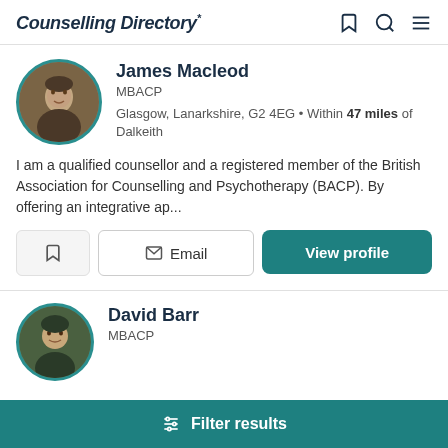Counselling Directory
James Macleod
MBACP
Glasgow, Lanarkshire, G2 4EG • Within 47 miles of Dalkeith
I am a qualified counsellor and a registered member of the British Association for Counselling and Psychotherapy (BACP). By offering an integrative ap...
Email  View profile
David Barr
MBACP
Filter results